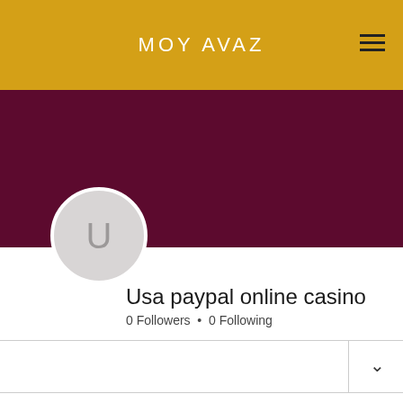MOY AVAZ
[Figure (screenshot): Dark maroon profile banner background with Follow button and three-dot menu icon, and a circular avatar with letter U]
Usa paypal online casino
0 Followers • 0 Following
Profile
Join date: May 17, 2022